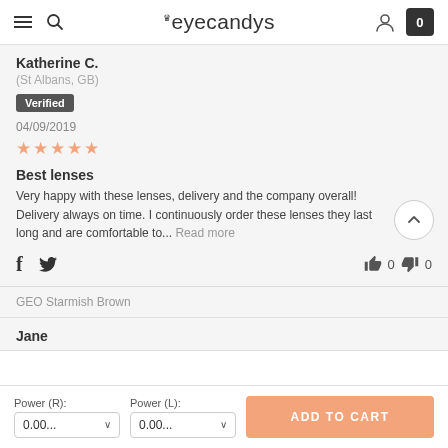eyecandys
Katherine C.
(St Albans, GB)
Verified
04/09/2019
★★★★★
Best lenses
Very happy with these lenses, delivery and the company overall! Delivery always on time. I continuously order these lenses they last long and are comfortable to... Read more
GEO Starmish Brown
Jane
Power (R): 0.00... Power (L): 0.00... ADD TO CART